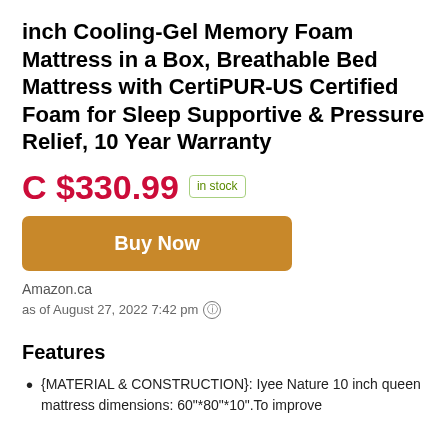inch Cooling-Gel Memory Foam Mattress in a Box, Breathable Bed Mattress with CertiPUR-US Certified Foam for Sleep Supportive & Pressure Relief, 10 Year Warranty
C $330.99  in stock
Buy Now
Amazon.ca
as of August 27, 2022 7:42 pm
Features
{MATERIAL & CONSTRUCTION}: Iyee Nature 10 inch queen mattress dimensions: 60"*80"*10".To improve